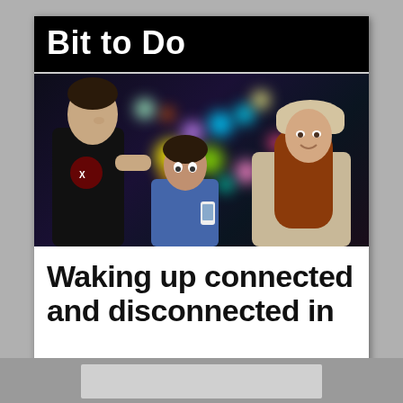Bit to Do
[Figure (photo): Three young people at what appears to be a roller rink or entertainment venue at night, with colorful bokeh lights in the background. A tall young man in a black t-shirt on the left, a young woman with long red hair wearing a beige knit hat on the right, and a shorter young woman in the middle looking up at them. The scene has vibrant out-of-focus colored lights in the background.]
Waking up connected and disconnected in